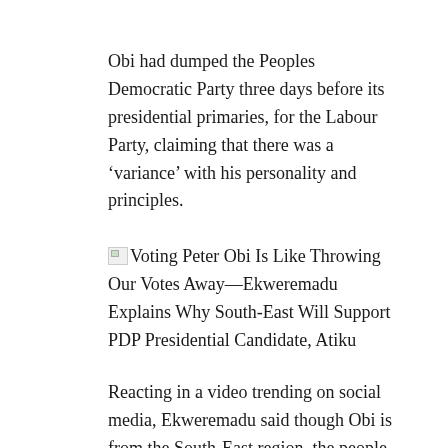Obi had dumped the Peoples Democratic Party three days before its presidential primaries, for the Labour Party, claiming that there was a ‘variance’ with his personality and principles.
Voting Peter Obi Is Like Throwing Our Votes Away—Ekweremadu Explains Why South-East Will Support PDP Presidential Candidate, Atiku
Reacting in a video trending on social media, Ekweremadu said though Obi is from the South-East region, the people from the geopolitical zone will not vote for him (Obi).
He noted that voting Obi in the coming presidential election is more like throwing away